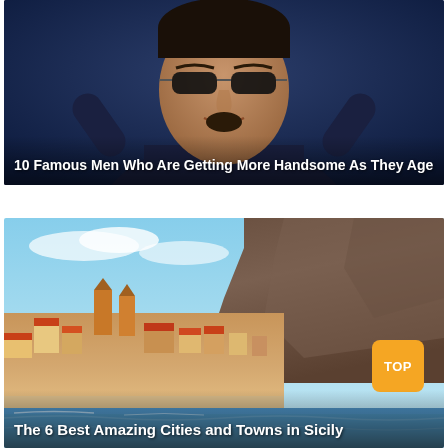[Figure (photo): A man wearing sunglasses and a dark suit with a scarf, posed with hands behind his head, smiling against a dark background]
10 Famous Men Who Are Getting More Handsome As They Age
[Figure (photo): Coastal Sicilian town with colorful buildings, a large cathedral, dramatic rocky cliff in the background, blue sky with clouds, and turquoise sea in the foreground with a sandy beach. An orange TOP badge is visible in the lower right.]
The 6 Best Amazing Cities and Towns in Sicily